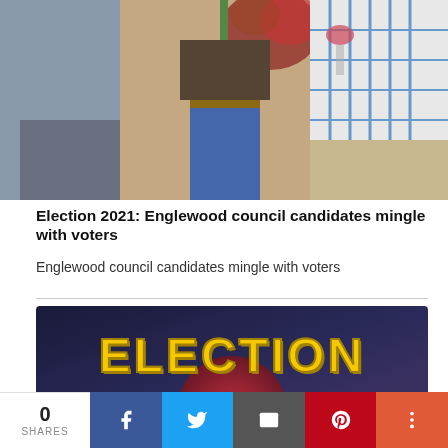[Figure (photo): People mingling at an indoor event, partially cropped, showing figures from waist down and a person in a plaid shirt holding a drink near floral decorations]
Election 2021: Englewood council candidates mingle with voters
Englewood council candidates mingle with voters
[Figure (illustration): Stylized Election 2021 graphic with golden retro-style ELECTION text and large white 2021 numerals on a dark blue/purple background with a red glowing sphere]
0 SHARES | Facebook | Twitter | Email | Pinterest | More